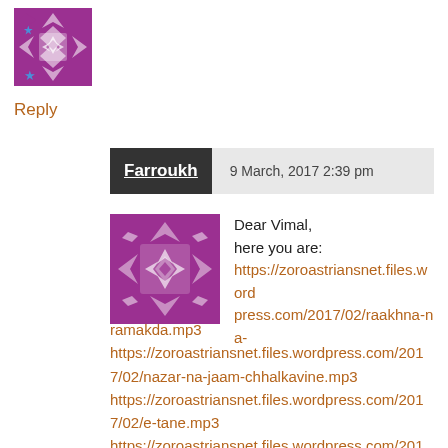[Figure (illustration): Purple geometric patterned avatar icon with a star, top left]
Reply
Farroukh   9 March, 2017 2:39 pm
[Figure (illustration): Purple geometric patterned avatar icon for Farroukh comment]
Dear Vimal,
here you are:
https://zoroastriansnet.files.wordpress.com/2017/02/raakhna-na-ramakda.mp3
https://zoroastriansnet.files.wordpress.com/2017/02/nazar-na-jaam-chhalkavine.mp3
https://zoroastriansnet.files.wordpress.com/2017/02/e-tane.mp3
https://zoroastriansnet.files.wordpress.com/2017/02/pankhida-ne-aa-pinjroo.mp3
https://zoroastriansnet.files.wordpress.com/20